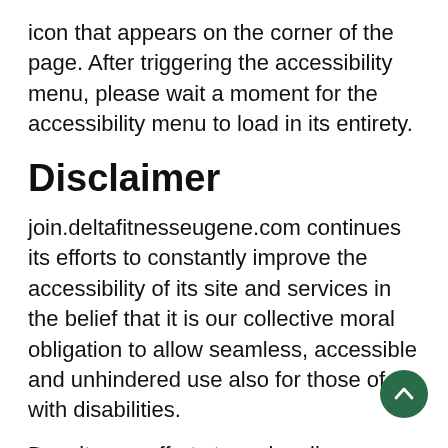icon that appears on the corner of the page. After triggering the accessibility menu, please wait a moment for the accessibility menu to load in its entirety.
Disclaimer
join.deltafitnesseugene.com continues its efforts to constantly improve the accessibility of its site and services in the belief that it is our collective moral obligation to allow seamless, accessible and unhindered use also for those of us with disabilities.
Despite our efforts to make all pages and content on join.deltafitnesseugene.com fully accessible, some content may not have yet been fully adapted to the strictest accessibility standards. This may be a result of not having found or identified the most appropriate technological solution.